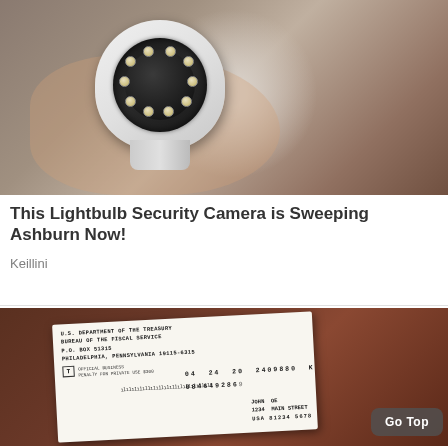[Figure (photo): A hand holding a small white lightbulb security camera with a circular lens surrounded by LEDs, with brown cardboard boxes in the background]
This Lightbulb Security Camera is Sweeping Ashburn Now!
Keillini
[Figure (photo): A hand holding a letter from U.S. Department of the Treasury, Bureau of the Fiscal Service, P.O. Box 51315, Philadelphia, Pennsylvania 19115-6315. The letter shows barcode numbers 04 24 20 2409880, 084649286... and address for JOHN OE, 1234 MAIN STREET, with a 'Go Top' button overlay]
Go Top